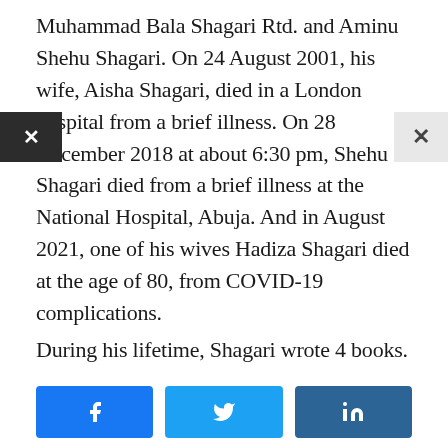Muhammad Bala Shagari Rtd. and Aminu Shehu Shagari. On 24 August 2001, his wife, Aisha Shagari, died in a London hospital from a brief illness. On 28 December 2018 at about 6:30 pm, Shehu Shagari died from a brief illness at the National Hospital, Abuja. And in August 2021, one of his wives Hadiza Shagari died at the age of 80, from COVID-19 complications.
During his lifetime, Shagari wrote 4 books.